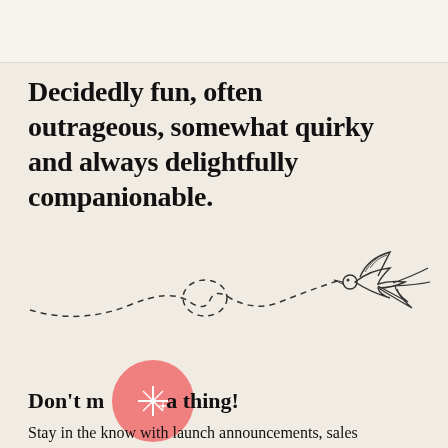Decidedly fun, often outrageous, somewhat quirky and always delightfully companionable.
[Figure (illustration): Line drawing of a swallow/bird in flight, with a dashed swooping flight path arc and a small oval loop in the middle of the path.]
[Figure (illustration): Pink circle with sparkle/star burst icon in white]
Don't miss a thing!
Stay in the know with launch announcements, sales